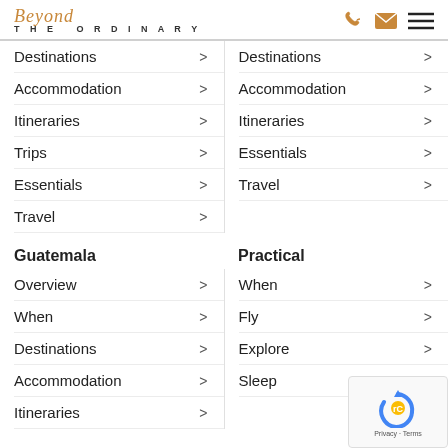Beyond THE ORDINARY
Destinations >
Destinations >
Accommodation >
Accommodation >
Itineraries >
Itineraries >
Trips >
Essentials >
Essentials >
Travel >
Travel >
Guatemala
Practical
Overview >
When >
When >
Fly >
Destinations >
Explore >
Accommodation >
Sleep >
Itineraries >